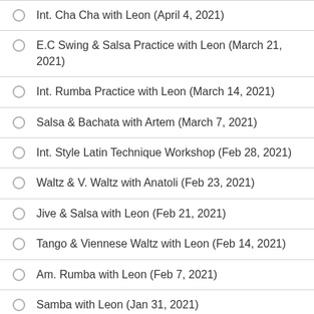Int. Cha Cha with Leon (April 4, 2021)
E.C Swing & Salsa Practice with Leon (March 21, 2021)
Int. Rumba Practice with Leon (March 14, 2021)
Salsa & Bachata with Artem (March 7, 2021)
Int. Style Latin Technique Workshop (Feb 28, 2021)
Waltz & V. Waltz with Anatoli (Feb 23, 2021)
Jive & Salsa with Leon (Feb 21, 2021)
Tango & Viennese Waltz with Leon (Feb 14, 2021)
Am. Rumba with Leon (Feb 7, 2021)
Samba with Leon (Jan 31, 2021)